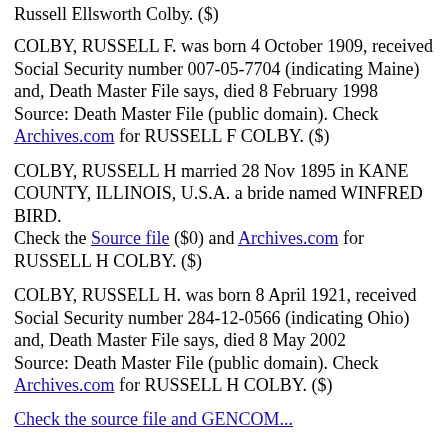Russell Ellsworth Colby. ($)
COLBY, RUSSELL F. was born 4 October 1909, received Social Security number 007-05-7704 (indicating Maine) and, Death Master File says, died 8 February 1998
Source: Death Master File (public domain). Check Archives.com for RUSSELL F COLBY. ($)
COLBY, RUSSELL H married 28 Nov 1895 in KANE COUNTY, ILLINOIS, U.S.A. a bride named WINFRED BIRD.
Check the Source file ($0) and Archives.com for RUSSELL H COLBY. ($)
COLBY, RUSSELL H. was born 8 April 1921, received Social Security number 284-12-0566 (indicating Ohio) and, Death Master File says, died 8 May 2002
Source: Death Master File (public domain). Check Archives.com for RUSSELL H COLBY. ($)
Check the Source file and Archives.com...